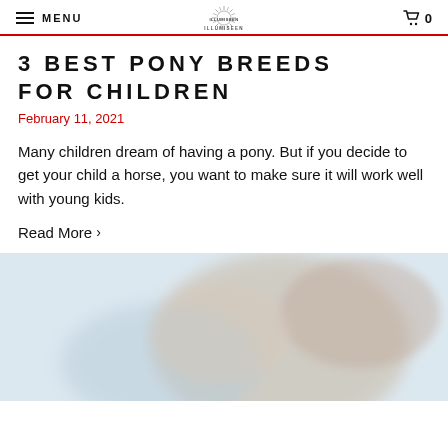MENU | ILLUMISEEN | 0
3 BEST PONY BREEDS FOR CHILDREN
February 11, 2021
Many children dream of having a pony. But if you decide to get your child a horse, you want to make sure it will work well with young kids.
Read More >
[Figure (photo): Blurred photo of a pony or child with pony, soft blue and tan tones]